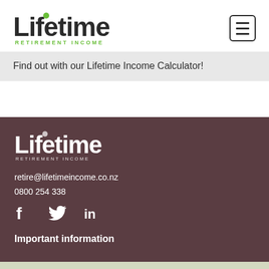Lifetime Retirement Income
Find out with our Lifetime Income Calculator!
[Figure (logo): Lifetime Retirement Income white logo on dark background]
retire@lifetimeincome.co.nz
0800 254 338
[Figure (other): Social media icons: Facebook, Twitter, LinkedIn]
Important information